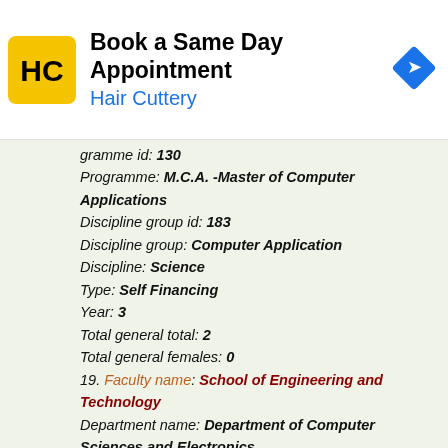[Figure (other): Advertisement banner for Hair Cuttery - Book a Same Day Appointment]
programme id: 130
Programme: M.C.A. -Master of Computer Applications
Discipline group id: 183
Discipline group: Computer Application
Discipline: Science
Type: Self Financing
Year: 3
Total general total: 2
Total general females: 0
19. Faculty name: School of Engineering and Technology
Department name: Department of Computer Sciences and Electronics
Levell: Post Graduate
Programme id: 130
Programme: M.C.A. -Master of Computer Applications
Discipline group id: 183
Discipline group: Computer Application
Discipline: Science
Type: Self Financing